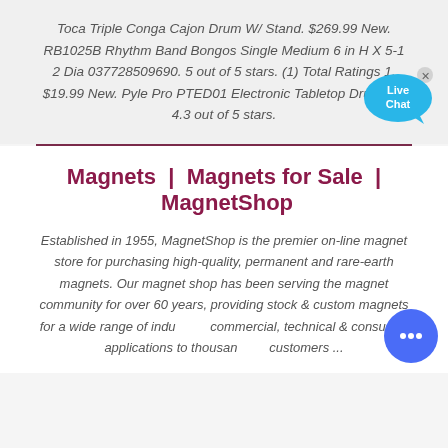Toca Triple Conga Cajon Drum W/ Stand. $269.99 New. RB1025B Rhythm Band Bongos Single Medium 6 in H X 5-1 2 Dia 037728509690. 5 out of 5 stars. (1) Total Ratings 1, $19.99 New. Pyle Pro PTED01 Electronic Tabletop Drum Kit. 4.3 out of 5 stars.
[Figure (illustration): Live Chat button — blue speech bubble with 'Live Chat' text and an X close button]
Magnets | Magnets for Sale | MagnetShop
Established in 1955, MagnetShop is the premier on-line magnet store for purchasing high-quality, permanent and rare-earth magnets. Our magnet shop has been serving the magnet community for over 60 years, providing stock & custom magnets for a wide range of industrial, commercial, technical & consumer applications to thousands of customers ...
[Figure (illustration): Blue circular chat button with three dots (ellipsis) icon]